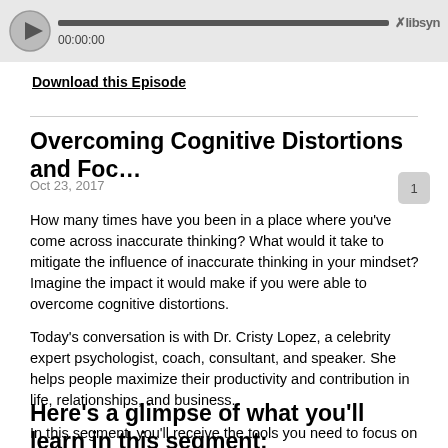[Figure (screenshot): Audio media player widget with play button, progress bar, timestamp 00:00:00, and libsyn logo]
Download this Episode
Overcoming Cognitive Distortions and Foc...
Oct 23, 2017
How many times have you been in a place where you've come across inaccurate thinking? What would it take to mitigate the influence of inaccurate thinking in your mindset? Imagine the impact it would make if you were able to overcome cognitive distortions.

Today's conversation is with Dr. Cristy Lopez, a celebrity expert psychologist, coach, consultant, and speaker. She helps people maximize their productivity and contribution in life, relationships, and business.

In this segment, you'll receive the tools you need to focus on accurate thinking and overcome cognitive distortions…
Here's a glimpse of what you'll learn in this segment: